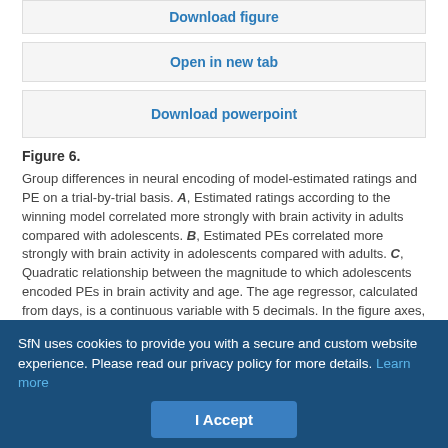Download figure
Open in new tab
Download powerpoint
Figure 6. Group differences in neural encoding of model-estimated ratings and PE on a trial-by-trial basis. A, Estimated ratings according to the winning model correlated more strongly with brain activity in adults compared with adolescents. B, Estimated PEs correlated more strongly with brain activity in adolescents compared with adults. C, Quadratic relationship between the magnitude to which adolescents encoded PEs in brain activity and age. The age regressor, calculated from days, is a continuous variable with 5 decimals. In the figure axes, age is rounded to years. D, The magnitude to which adolescents' brain activity encoded PEs correlated positively with the SRS total score (higher values indicate less social traits). TEENS,
SfN uses cookies to provide you with a secure and custom website experience. Please read our privacy policy for more details. Learn more
I Accept